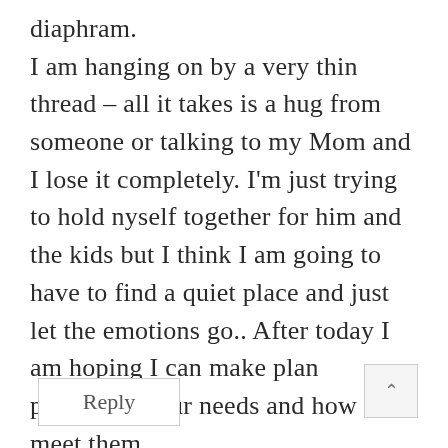diaphram. I am hanging on by a very thin thread – all it takes is a hug from someone or talking to my Mom and I lose it completely. I'm just trying to hold nyself together for him and the kids but I think I am going to have to find a quiet place and just let the emotions go.. After today I am hoping I can make plan prioritizing our needs and how to meet them.
Reply